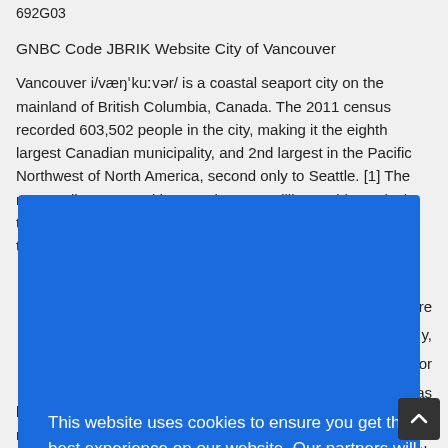692G03
GNBC Code JBRIK Website City of Vancouver
Vancouver i/væŋˈkuːvər/ is a coastal seaport city on the mainland of British Columbia, Canada. The 2011 census recorded 603,502 people in the city, making it the eighth largest Canadian municipality, and 2nd largest in the Pacific Northwest of North America, second only to Seattle.[1] The metropolitan area, with more than 2.3 million residents, is the third most populous metropolitan area in the country[1] and the most ...etre ...y, ...s or ...as ...grew ...with ...amed ...
[Figure (other): Cookie consent overlay dialog on a blue background with text: 'This website uses cookies to ensure you get the best experience on our website. Our partners will collect data and use cookies for ad personalization and measurement.' with a link 'Learn how we and our partners collect and use data.' and an OK button.]
large natural seaport, which soon became a vital link in a trade route